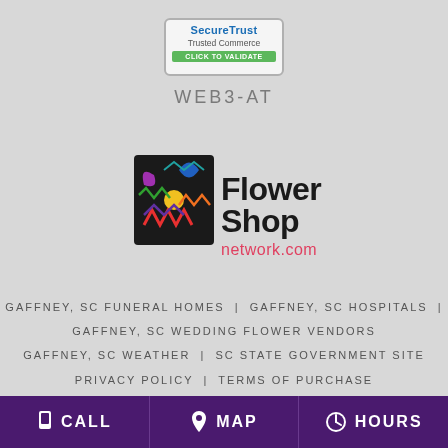[Figure (logo): SecureTrust Trusted Commerce badge with blue text and green 'CLICK TO VALIDATE' bar]
WEB3-AT
[Figure (logo): Flower Shop Network logo with colorful flower graphic and text 'Flower Shop network.com']
GAFFNEY, SC FUNERAL HOMES | GAFFNEY, SC HOSPITALS | GAFFNEY, SC WEDDING FLOWER VENDORS
GAFFNEY, SC WEATHER | SC STATE GOVERNMENT SITE
PRIVACY POLICY | TERMS OF PURCHASE
CALL  MAP  HOURS